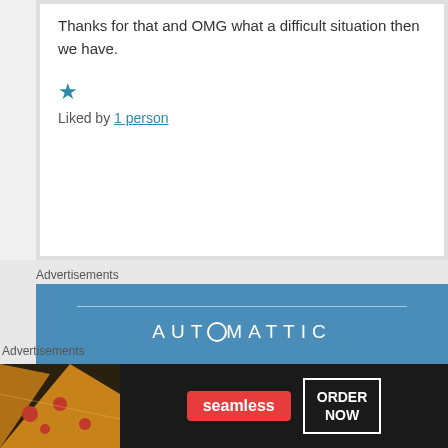Thanks for that and OMG what a difficult situation then we have.
★ Liked by 1 person
Advertisements
[Figure (screenshot): Automattic advertisement banner with blue background showing 'AUTOMATTIC' logo and 'Love working again.' tagline]
Advertisements
[Figure (screenshot): Seamless food delivery advertisement with pizza image, Seamless logo, and ORDER NOW button]